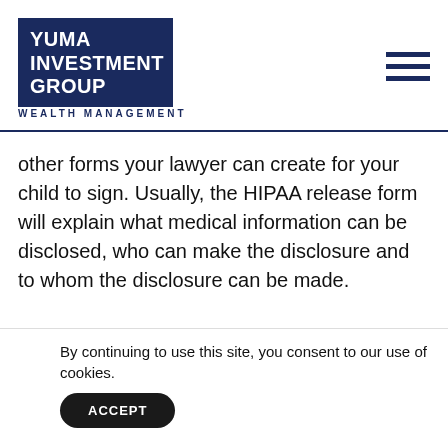[Figure (logo): Yuma Investment Group logo: dark navy blue rectangle with white bold text 'YUMA INVESTMENT GROUP' and 'WEALTH MANAGEMENT' in navy below]
other forms your lawyer can create for your child to sign. Usually, the HIPAA release form will explain what medical information can be disclosed, who can make the disclosure and to whom the disclosure can be made.
Forms are available from many sources, but don't just g a a
By continuing to use this site, you consent to our use of cookies.
ACCEPT